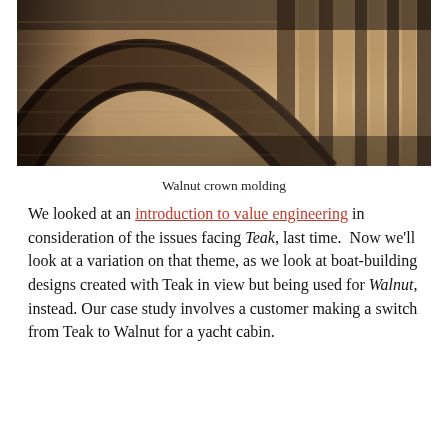[Figure (photo): Close-up photograph of walnut crown molding — curved dark wood profile against stacked wooden planks, dramatic lighting from upper right]
Walnut crown molding
We looked at an introduction to value engineering in consideration of the issues facing Teak, last time.  Now we'll look at a variation on that theme, as we look at boat-building designs created with Teak in view but being used for Walnut, instead. Our case study involves a customer making a switch from Teak to Walnut for a yacht cabin.